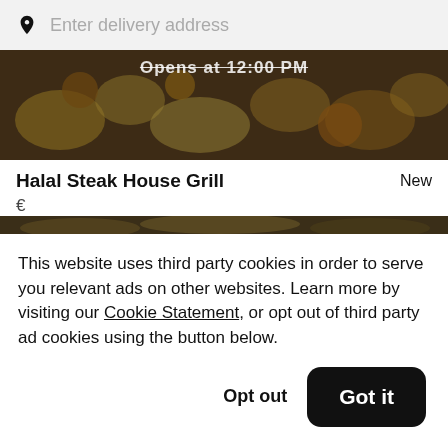Enter delivery address
[Figure (photo): Food items on a table with overlay text 'Opens at 12:00 PM']
Halal Steak House Grill
New
€
[Figure (photo): Partial food image strip at top of second restaurant card]
This website uses third party cookies in order to serve you relevant ads on other websites. Learn more by visiting our Cookie Statement, or opt out of third party ad cookies using the button below.
Opt out
Got it